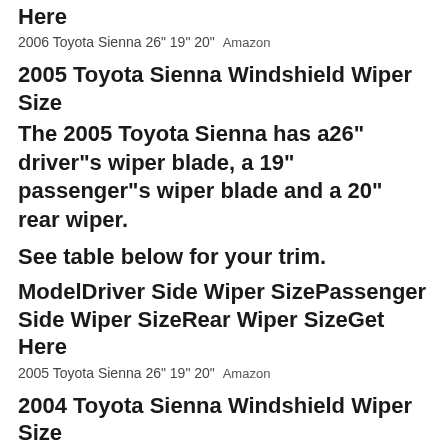Here
2006 Toyota Sienna 26" 19" 20"  Amazon
2005 Toyota Sienna Windshield Wiper Size
The 2005 Toyota Sienna has a26" driver"s wiper blade, a 19" passenger"s wiper blade and a 20" rear wiper.
See table below for your trim.
ModelDriver Side Wiper SizePassenger Side Wiper SizeRear Wiper SizeGet Here
2005 Toyota Sienna 26" 19" 20"  Amazon
2004 Toyota Sienna Windshield Wiper Size
The 2004 Toyota Sienna has a26" driver"s wiper blade, a 19"